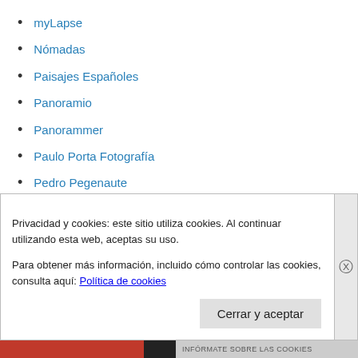myLapse
Nómadas
Paisajes Españoles
Panoramio
Panorammer
Paulo Porta Fotografía
Pedro Pegenaute
Fotografiado.com
Quintin Lake Architectural Photography
SmugMug
Stuck in Customs
Privacidad y cookies: este sitio utiliza cookies. Al continuar utilizando esta web, aceptas su uso.
Para obtener más información, incluido cómo controlar las cookies, consulta aquí: Política de cookies
Cerrar y aceptar